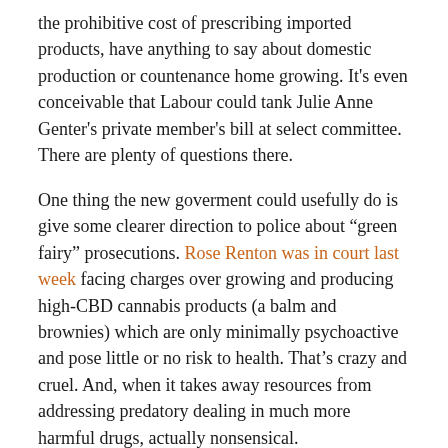the prohibitive cost of prescribing imported products, have anything to say about domestic production or countenance home growing. It's even conceivable that Labour could tank Julie Anne Genter's private member's bill at select committee. There are plenty of questions there.
One thing the new goverment could usefully do is give some clearer direction to police about “green fairy” prosecutions. Rose Renton was in court last week facing charges over growing and producing high-CBD cannabis products (a balm and brownies) which are only minimally psychoactive and pose little or no risk to health. That’s crazy and cruel. And, when it takes away resources from addressing predatory dealing in much more harmful drugs, actually nonsensical.
It’s going to be an interesting three years.